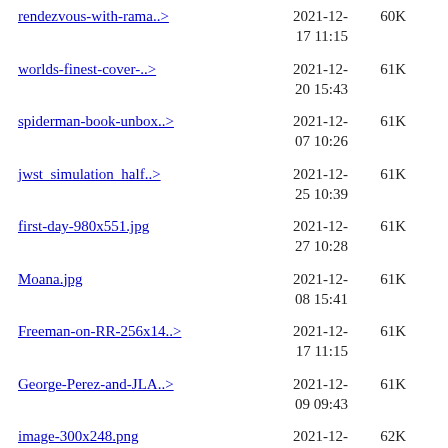rendezvous-with-rama..> 2021-12-17 11:15 60K
worlds-finest-cover-..> 2021-12-20 15:43 61K
spiderman-book-unbox..> 2021-12-07 10:26 61K
jwst_simulation_half..> 2021-12-25 10:39 61K
first-day-980x551.jpg 2021-12-27 10:28 61K
Moana.jpg 2021-12-08 15:41 61K
Freeman-on-RR-256x14..> 2021-12-17 11:15 61K
George-Perez-and-JLA..> 2021-12-09 09:43 61K
image-300x248.png 2021-12-13 11:14 62K
Walt_Disney_1946-427..> 2021-12-05 17:07 62K
Book-of-Boba-Fett-12..> 2021-12-29 10:11 62K